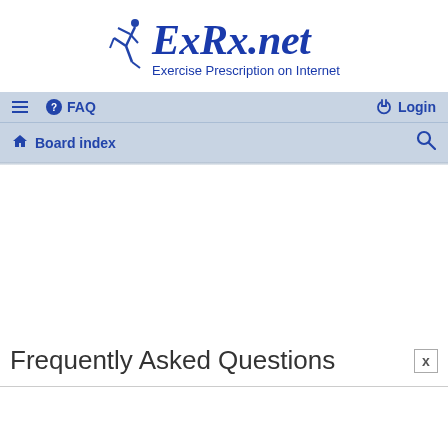[Figure (logo): ExRx.net logo with running figure and text 'ExRx.net Exercise Prescription on Internet']
≡  ? FAQ    Login
⌂ Board index    🔍
Frequently Asked Questions